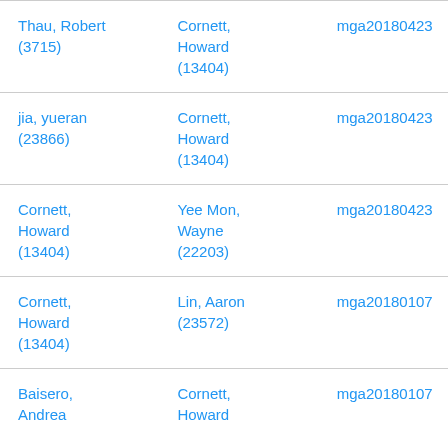| Thau, Robert (3715) | Cornett, Howard (13404) | mga20180423 |
| jia, yueran (23866) | Cornett, Howard (13404) | mga20180423 |
| Cornett, Howard (13404) | Yee Mon, Wayne (22203) | mga20180423 |
| Cornett, Howard (13404) | Lin, Aaron (23572) | mga20180107 |
| Baisero, Andrea | Cornett, Howard | mga20180107 |